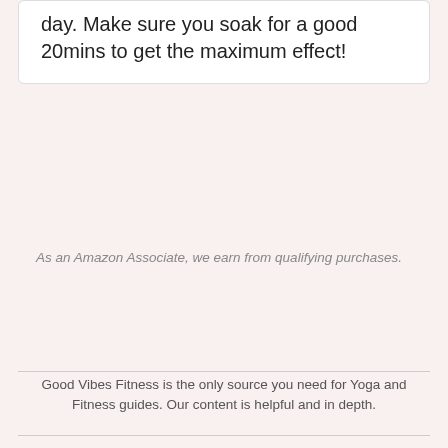day. Make sure you soak for a good 20mins to get the maximum effect!
As an Amazon Associate, we earn from qualifying purchases.
Good Vibes Fitness is the only source you need for Yoga and Fitness guides. Our content is helpful and in depth.